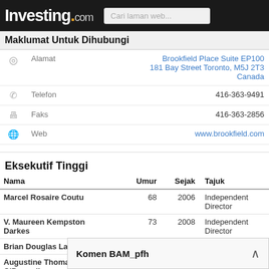Investing.com | Cari laman web...
Maklumat Untuk Dihubungi
|  |  |  |
| --- | --- | --- |
| Alamat | Brookfield Place Suite EP100
181 Bay Street Toronto, M5J 2T3
Canada |
| Telefon | 416-363-9491 |
| Faks | 416-363-2856 |
| Web | www.brookfield.com |
Eksekutif Tinggi
| Nama | Umur | Sejak | Tajuk |
| --- | --- | --- | --- |
| Marcel Rosaire Coutu | 68 | 2006 | Independent Director |
| V. Maureen Kempston Darkes | 73 | 2008 | Independent Director |
| Brian Douglas Lawson | 63 | 2002 | Vice Chairman |
| Augustine Thomas O'Donnell | 70 | 2013 | Director |
| Ngee Huat Seek |  |  |  |
| Rafael Miranda R |  |  |  |
Komen BAM_pfh